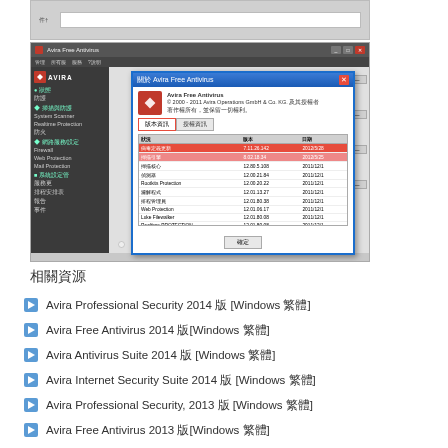[Figure (screenshot): Top partial screenshot showing a gray dialog with Chinese text]
[Figure (screenshot): Avira Free Antivirus software window showing a dialog box with component version information in Chinese. The dialog shows highlighted rows for engine and virus definition updates with red rectangles around them.]
相關資源
Avira Professional Security 2014 版 [Windows 繁體]
Avira Free Antivirus 2014 版[Windows 繁體]
Avira Antivirus Suite 2014 版 [Windows 繁體]
Avira Internet Security Suite 2014 版 [Windows 繁體]
Avira Professional Security, 2013 版 [Windows 繁體]
Avira Free Antivirus 2013 版[Windows 繁體]